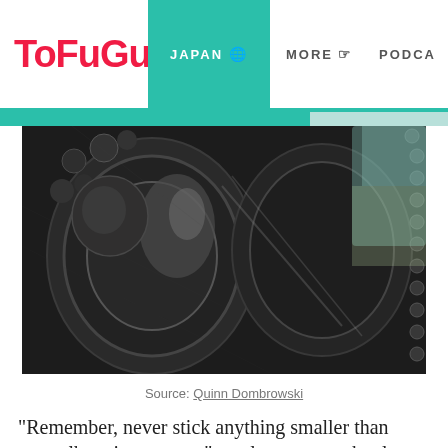TOFUGU  JAPAN  MORE  PODCA
[Figure (photo): Close-up macro photograph of a dark metal decorative surface with circular carved or cast relief patterns and studded borders, likely part of a Japanese statue or temple ornament]
Source: Quinn Dombrowski
“Remember, never stick anything smaller than your elbow in your ear,” an elementary school teacher of